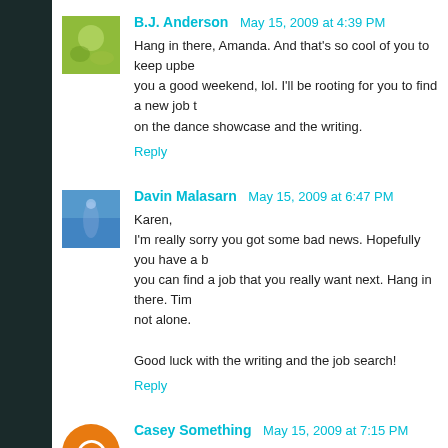B.J. Anderson  May 15, 2009 at 4:39 PM
Hang in there, Amanda. And that's so cool of you to keep upbe... you a good weekend, lol. I'll be rooting for you to find a new job t... on the dance showcase and the writing.
Reply
Davin Malasarn  May 15, 2009 at 6:47 PM
Karen,
I'm really sorry you got some bad news. Hopefully you have a b... you can find a job that you really want next. Hang in there. Tim... not alone.

Good luck with the writing and the job search!
Reply
Casey Something  May 15, 2009 at 7:15 PM
Sorry to hear you lost your job. It sounds like you have the righ... hunt and your writing.